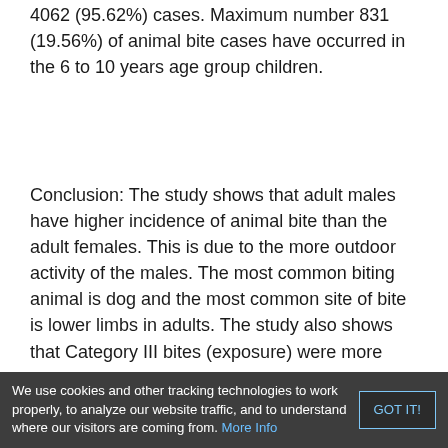4062 (95.62%) cases. Maximum number 831 (19.56%) of animal bite cases have occurred in the 6 to 10 years age group children.
Conclusion: The study shows that adult males have higher incidence of animal bite than the adult females. This is due to the more outdoor activity of the males. The most common biting animal is dog and the most common site of bite is lower limbs in adults. The study also shows that Category III bites (exposure) were more common.
Keywords: Animal Bites, Rabies, Category I, Category III.
We use cookies and other tracking technologies to work properly, to analyze our website traffic, and to understand where our visitors are coming from. More Info GOT IT!